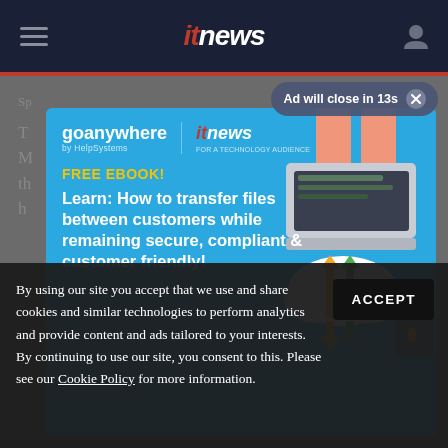itnews
Ad will close in 13s ✕
[Figure (infographic): GoAnywhere by HelpSystems and ITnews advertisement. FREE EBOOK! Learn: How to transfer files between customers while remaining secure, compliant & customer friendly! Features illustration of hands using a laptop with cloud file transfer graphic and padlock.]
By using our site you accept that we use and share cookies and similar technologies to perform analytics and provide content and ads tailored to your interests. By continuing to use our site, you consent to this. Please see our Cookie Policy for more information.